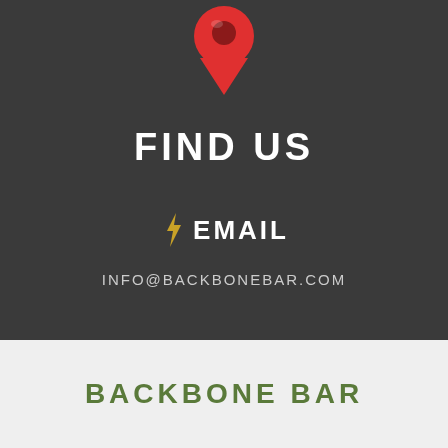[Figure (illustration): Red map location pin icon on dark background]
FIND US
⚡ EMAIL
INFO@BACKBONEBAR.COM
BACKBONE BAR